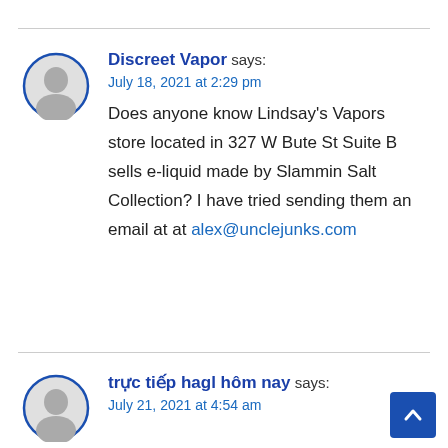[Figure (illustration): Gray avatar circle with user silhouette icon, blue circular border]
Discreet Vapor says: July 18, 2021 at 2:29 pm
Does anyone know Lindsay's Vapors store located in 327 W Bute St Suite B sells e-liquid made by Slammin Salt Collection? I have tried sending them an email at at alex@unclejunks.com
[Figure (illustration): Gray avatar circle with user silhouette icon, blue circular border (partially visible)]
trực tiếp hagl hôm nay says: July 21, 2021 at 4:54 am